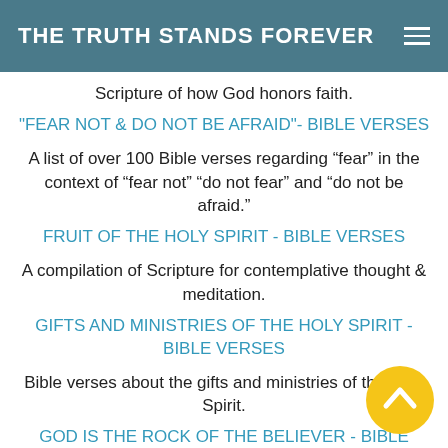THE TRUTH STANDS FOREVER
Scripture of how God honors faith.
"FEAR NOT & DO NOT BE AFRAID"- BIBLE VERSES
A list of over 100 Bible verses regarding “fear” in the context of “fear not” “do not fear” and “do not be afraid.”
FRUIT OF THE HOLY SPIRIT - BIBLE VERSES
A compilation of Scripture for contemplative thought & meditation.
GIFTS AND MINISTRIES OF THE HOLY SPIRIT - BIBLE VERSES
Bible verses about the gifts and ministries of the Holy Spirit.
GOD IS THE ROCK OF THE BELIEVER - BIBLE VERSES